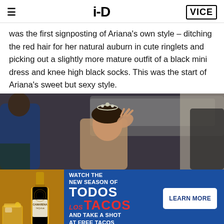i-D | VICE
was the first signposting of Ariana's own style – ditching the red hair for her natural auburn in cute ringlets and picking out a slightly more mature outfit of a black mini dress and knee high black socks. This was the start of Ariana's sweet but sexy style.
[Figure (photo): Photo of a young woman wearing a tiara/flower crown, side profile, with people around her outdoors near a vehicle]
[Figure (infographic): Advertisement for Camarena Tequila promoting 'Watch the New Season of Todos Los Tacos and Take a Shot at Free Tacos' with a Learn More button, featuring a bottle of Camarena tequila and a cocktail glass]